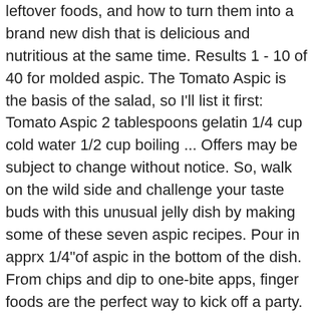leftover foods, and how to turn them into a brand new dish that is delicious and nutritious at the same time. Results 1 - 10 of 40 for molded aspic. The Tomato Aspic is the basis of the salad, so I'll list it first: Tomato Aspic 2 tablespoons gelatin 1/4 cup cold water 1/2 cup boiling ... Offers may be subject to change without notice. So, walk on the wild side and challenge your taste buds with this unusual jelly dish by making some of these seven aspic recipes. Pour in apprx 1/4"of aspic in the bottom of the dish. From chips and dip to one-bite apps, finger foods are the perfect way to kick off a party. These days, the thought of eating meat and vegetables suspended in clear meat-flavored gelatin tends to elicit more shudders than cheers. Combine all ingredients and mix well. Aspics started to change, though, with the advent of the industrial revolution—it was in this period that the once haute dish, enjoyed only by members of the court and aristocracy, got democratized and, in some ways, diluted. Aspic recipe made with eggs and Pork The Seaman Mom peppercorns, salt, pork, large carrot, bay leaves, hard boiled egg